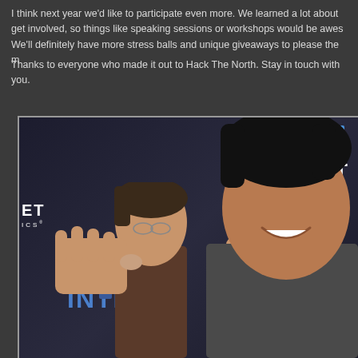I think next year we'd like to participate even more. We learned a lot about get involved, so things like speaking sessions or workshops would be awes We'll definitely have more stress balls and unique giveaways to please the m
Thanks to everyone who made it out to Hack The North. Stay in touch with you.
[Figure (photo): Photo of two people posing in front of a Magnet Forensics booth backdrop at Hack The North event. The dark background shows the Magnet Forensics logo and branding. One person is making a hand gesture, and the word INTER is visible in blue at the bottom of the backdrop.]